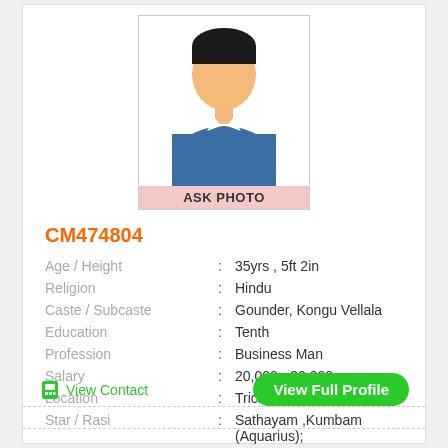[Figure (illustration): Generic male avatar / silhouette icon with blue shirt and peach face, with a pink 'ASK PHOTO' bar at the bottom]
CM474804
| Field | Colon | Value |
| --- | --- | --- |
| Age / Height | : | 35yrs , 5ft 2in |
| Religion | : | Hindu |
| Caste / Subcaste | : | Gounder, Kongu Vellala |
| Education | : | Tenth |
| Profession | : | Business Man |
| Salary | : | 20,000 - 30,000 |
| Location | : | Trichy |
| Star / Rasi | : | Sathayam ,Kumbam (Aquarius); |
View Contact
View Full Profile